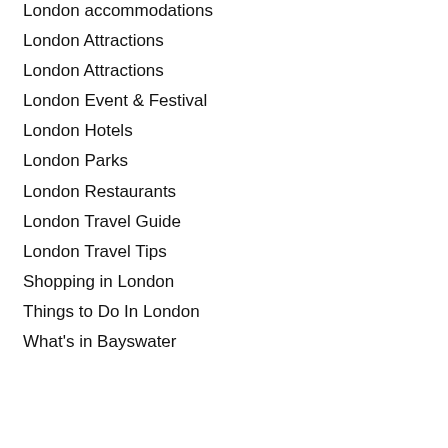London accommodations
London Attractions
London Attractions
London Event & Festival
London Hotels
London Parks
London Restaurants
London Travel Guide
London Travel Tips
Shopping in London
Things to Do In London
What's in Bayswater